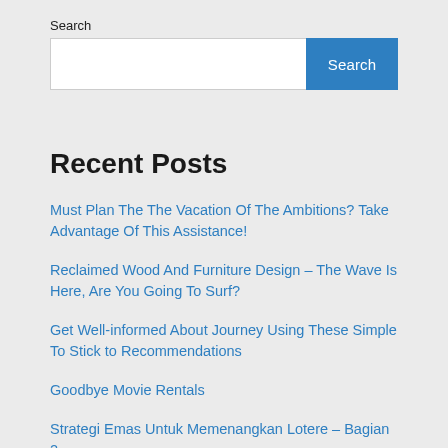Search
[Figure (screenshot): Search input box with a blue Search button]
Recent Posts
Must Plan The The Vacation Of The Ambitions? Take Advantage Of This Assistance!
Reclaimed Wood And Furniture Design – The Wave Is Here, Are You Going To Surf?
Get Well-informed About Journey Using These Simple To Stick to Recommendations
Goodbye Movie Rentals
Strategi Emas Untuk Memenangkan Lotere – Bagian 2